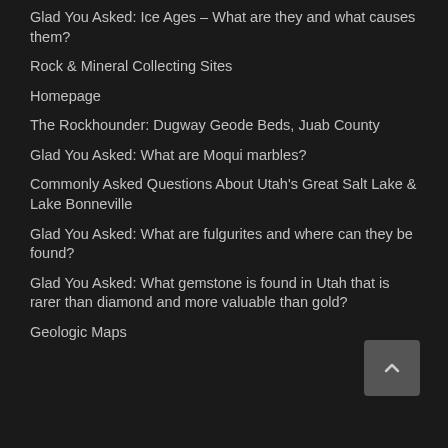Glad You Asked: Ice Ages – What are they and what causes them?
Rock & Mineral Collecting Sites
Homepage
The Rockhounder: Dugway Geode Beds, Juab County
Glad You Asked: What are Moqui marbles?
Commonly Asked Questions About Utah's Great Salt Lake & Lake Bonneville
Glad You Asked: What are fulgurites and where can they be found?
Glad You Asked: What gemstone is found in Utah that is rarer than diamond and more valuable than gold?
Geologic Maps